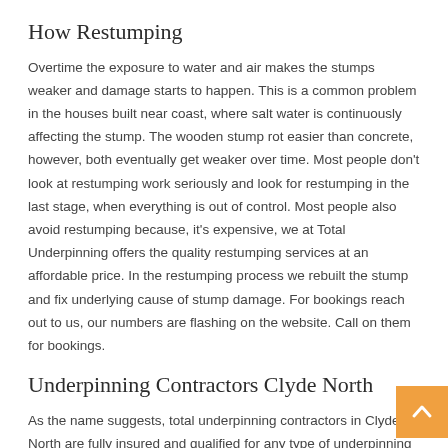How Restumping
Overtime the exposure to water and air makes the stumps weaker and damage starts to happen. This is a common problem in the houses built near coast, where salt water is continuously affecting the stump. The wooden stump rot easier than concrete, however, both eventually get weaker over time. Most people don't look at restumping work seriously and look for restumping in the last stage, when everything is out of control. Most people also avoid restumping because, it's expensive, we at Total Underpinning offers the quality restumping services at an affordable price. In the restumping process we rebuilt the stump and fix underlying cause of stump damage. For bookings reach out to us, our numbers are flashing on the website. Call on them for bookings.
Underpinning Contractors Clyde North
As the name suggests, total underpinning contractors in Clyde North are fully insured and qualified for any type of underpinning